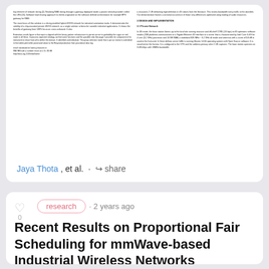[Figure (screenshot): Thumbnail preview of a two-column academic paper about industrial wireless networks and SDN gateway]
Jaya Thota, et al. · share
research · 2 years ago
Recent Results on Proportional Fair Scheduling for mmWave-based Industrial Wireless Networks
Millimeter wave (mmWave) communication has recently attracted significan...
[Figure (screenshot): Mini thumbnail preview of the same paper: Recent Results on Proportional Fair Scheduling for mmWave-based Industrial Wireless Networks]